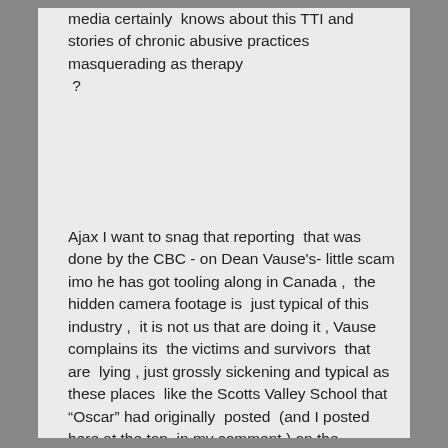media certainly  knows about this TTI and stories of chronic abusive practices masquerading as therapy  ?
Ajax I want to snag that reporting  that was done by the CBC - on Dean Vause's- little scam imo he has got tooling along in Canada ,  the  hidden camera footage is  just typical of this industry ,  it is not us that are doing it , Vause complains its  the victims and survivors  that are  lying , just grossly sickening and typical as these places  like the Scotts Valley School that “Oscar” had originally  posted  (and I posted here at the top  in my comment ) on the